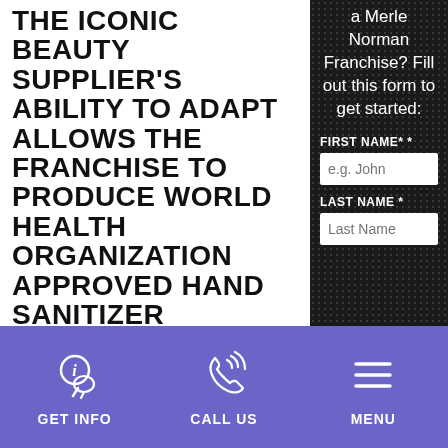THE ICONIC BEAUTY SUPPLIER'S ABILITY TO ADAPT ALLOWS THE FRANCHISE TO PRODUCE WORLD HEALTH ORGANIZATION APPROVED HAND SANITIZER
For nearly a century, Merle Norman Cosmetics has endured — and overcame — many economic hurdles. By continuing to innovate and change with the times, Merle Norman has helped franchise owners thrive for decades. For more with the other...
a Merle Norman Franchise? Fill out this form to get started:
FIRST NAME* *
e.g. John
LAST NAME *
Last Name
GET INFO
CALL US
MENU